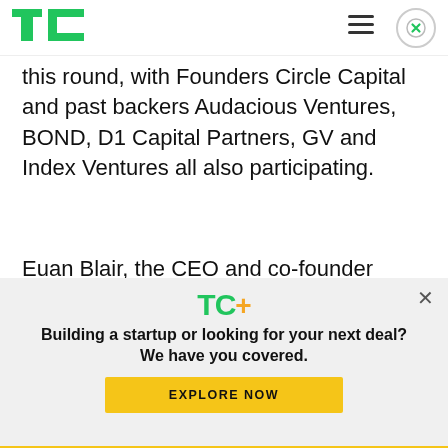TechCrunch header with logo, hamburger menu, and close button
this round, with Founders Circle Capital and past backers Audacious Ventures, BOND, D1 Capital Partners, GV and Index Ventures all also participating.
Euan Blair, the CEO and co-founder (who is the son of ex-Prime Minister Tony Blair and high-profile
[Figure (screenshot): TechCrunch TC+ subscription overlay modal with TC+ logo, headline 'Building a startup or looking for your next deal? We have you covered.' and yellow EXPLORE NOW button]
Yellow bottom bar